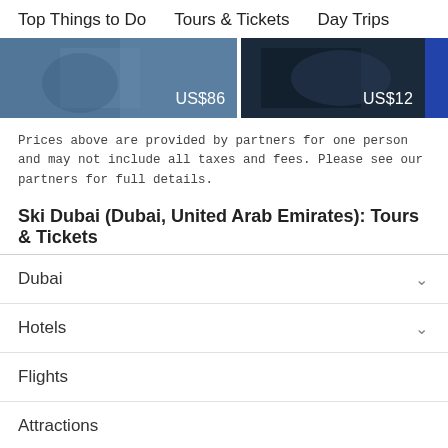Top Things to Do    Tours & Tickets    Day Trips
[Figure (photo): Two side-by-side travel/activity photos with price tags overlaid: left photo shows US$86, right photo shows US$12, partial third photo at right edge]
Prices above are provided by partners for one person and may not include all taxes and fees. Please see our partners for full details.
Ski Dubai (Dubai, United Arab Emirates): Tours & Tickets
Dubai
Hotels
Flights
Attractions
Forum
Best of 2022
More